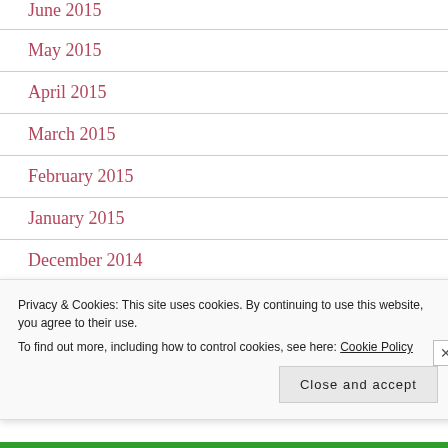June 2015
May 2015
April 2015
March 2015
February 2015
January 2015
December 2014
November 2014
Privacy & Cookies: This site uses cookies. By continuing to use this website, you agree to their use.
To find out more, including how to control cookies, see here: Cookie Policy
Close and accept